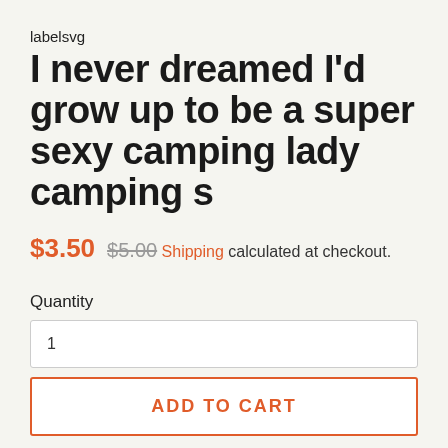labelsvg
I never dreamed I'd grow up to be a super sexy camping lady camping s
$3.50  $5.00
Shipping calculated at checkout.
Quantity
1
ADD TO CART